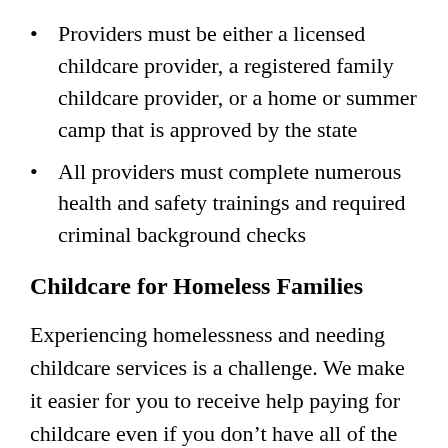Providers must be either a licensed childcare provider, a registered family childcare provider, or a home or summer camp that is approved by the state
All providers must complete numerous health and safety trainings and required criminal background checks
Childcare for Homeless Families
Experiencing homelessness and needing childcare services is a challenge. We make it easier for you to receive help paying for childcare even if you don't have all of the required documents. If you lack a fixed and adequate nighttime residence,